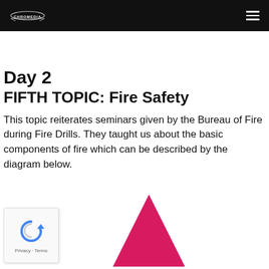CHROMEDIA
Day 2
FIFTH TOPIC: Fire Safety
This topic reiterates seminars given by the Bureau of Fire during Fire Drills. They taught us about the basic components of fire which can be described by the diagram below.
[Figure (other): reCAPTCHA privacy widget with blue recycling-arrow icon and Privacy · Terms text]
[Figure (illustration): Pink/magenta triangle shape representing part of a fire diagram, partially visible at bottom of page]